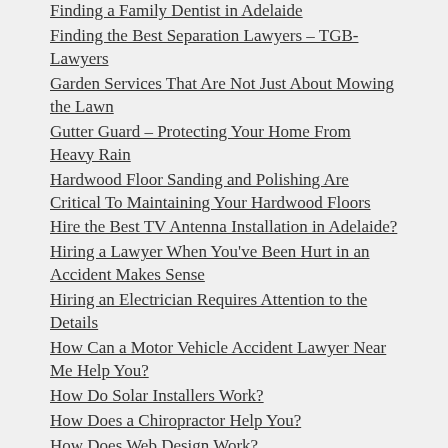Finding a Family Dentist in Adelaide
Finding the Best Separation Lawyers – TGB-Lawyers
Garden Services That Are Not Just About Mowing the Lawn
Gutter Guard – Protecting Your Home From Heavy Rain
Hardwood Floor Sanding and Polishing Are Critical To Maintaining Your Hardwood Floors
Hire the Best TV Antenna Installation in Adelaide?
Hiring a Lawyer When You've Been Hurt in an Accident Makes Sense
Hiring an Electrician Requires Attention to the Details
How Can a Motor Vehicle Accident Lawyer Near Me Help You?
How Do Solar Installers Work?
How Does a Chiropractor Help You?
How Does Web Design Work?
How Stone Wall Tiles Can Enhance Your Home
How to Choose a Construction Company
How to Choose a Cruelty-Free Shampoo